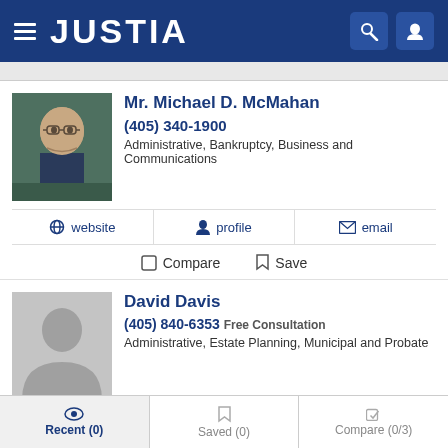JUSTIA
Mr. Michael D. McMahan
(405) 340-1900
Administrative, Bankruptcy, Business and Communications
website  profile  email
Compare  Save
David Davis
(405) 840-6353 Free Consultation
Administrative, Estate Planning, Municipal and Probate
profile  email
Recent (0)  Saved (0)  Compare (0/3)